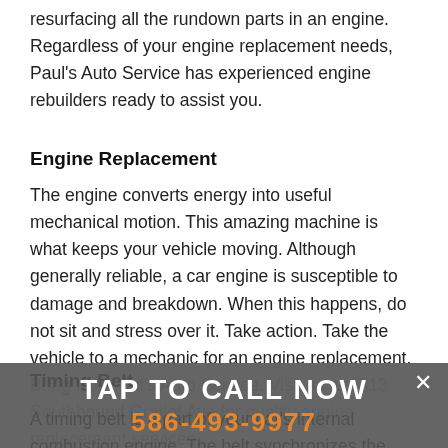resurfacing all the rundown parts in an engine. Regardless of your engine replacement needs, Paul's Auto Service has experienced engine rebuilders ready to assist you.
Engine Replacement
The engine converts energy into useful mechanical motion. This amazing machine is what keeps your vehicle moving. Although generally reliable, a car engine is susceptible to damage and breakdown. When this happens, do not sit and stress over it. Take action. Take the vehicle to a mechanic for an engine replacement. Bring it to Paul's Auto Service. Visit us at 1313 Southbound Gratiot Ave for quality engine replacement services.
Timing Belt
A timing belt is a part of your car's internal combustion engine. The belt synchronizes the camshaft and the crankshaft rotation so that the engine valves open and close at the correct timings. Also, the belt prevents the piston from striking the valves in an
TAP TO CALL NOW
586-493-9977